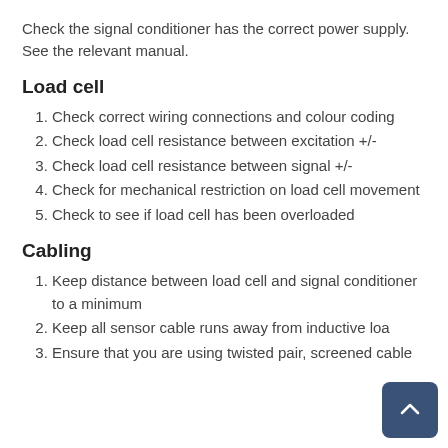Check the signal conditioner has the correct power supply. See the relevant manual.
Load cell
Check correct wiring connections and colour coding
Check load cell resistance between excitation +/-
Check load cell resistance between signal +/-
Check for mechanical restriction on load cell movement
Check to see if load cell has been overloaded
Cabling
Keep distance between load cell and signal conditioner to a minimum
Keep all sensor cable runs away from inductive loa
Ensure that you are using twisted pair, screened cable